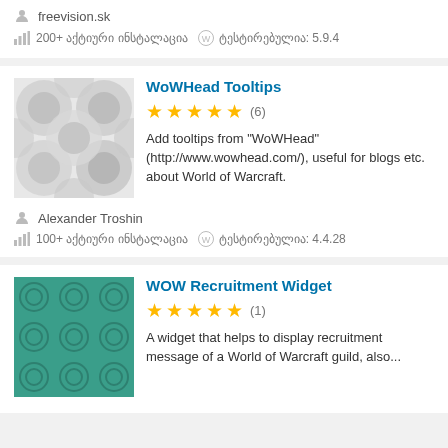freevision.sk
200+ აქტიური ინსტალაცია   ტესტირებულია: 5.9.4
WoWHead Tooltips
★★★★★ (6)
Add tooltips from "WoWHead" (http://www.wowhead.com/), useful for blogs etc. about World of Warcraft.
Alexander Troshin
100+ აქტიური ინსტალაცია   ტესტირებულია: 4.4.28
WOW Recruitment Widget
★★★★★ (1)
A widget that helps to display recruitment message of a World of Warcraft guild, also...